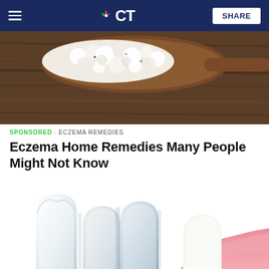NBC CT
[Figure (photo): Overhead photo of cottage cheese or similar white chunky food on a wooden spoon over a rustic dark wooden background]
SPONSORED · ECZEMA REMEDIES
Eczema Home Remedies Many People Might Not Know
[Figure (illustration): 3D medical illustration of dental implants showing white tooth crowns with a metal implant screw visible, set next to natural teeth with pink gum tissue visible]